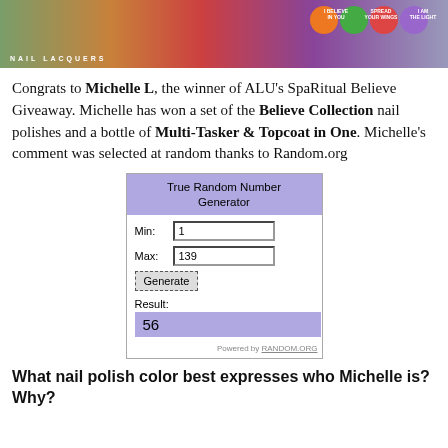[Figure (photo): Banner image for SpaRitual Nail Lacquers showing colorful nail polish bottles and a person's hand, with text overlays including 'NAIL LACQUERS', 'I BELIEVE IN YOU', 'SPREAD YOUR WINGS', 'I AM THE LIGHT']
Congrats to Michelle L, the winner of ALU's SpaRitual Believe Giveaway. Michelle has won a set of the Believe Collection nail polishes and a bottle of Multi-Tasker & Topcoat in One. Michelle's comment was selected at random thanks to Random.org
[Figure (screenshot): Screenshot of Random.org True Random Number Generator showing Min: 1, Max: 139, Generate button, Result: 56]
What nail polish color best expresses who Michelle is? Why?